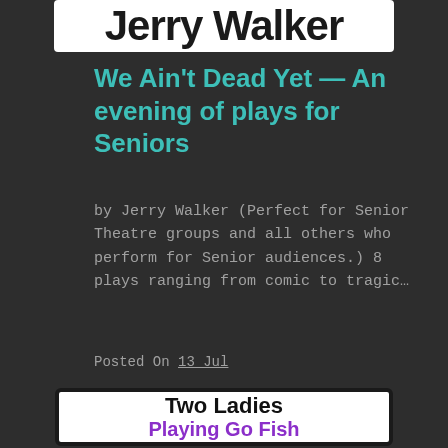[Figure (other): Partial book/author header image showing 'Jerry Walker' in large bold text on white background]
We Ain't Dead Yet — An evening of plays for Seniors
by Jerry Walker (Perfect for Senior Theatre groups and all others who perform for Senior audiences.) 8 plays ranging from comic to tragic…
Posted On 13 Jul
[Figure (other): Book cover thumbnail showing 'Two Ladies Playing Go Fish' — title in bold black and purple text on white background with black border]